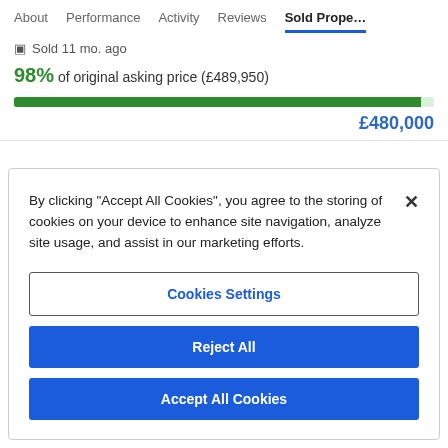About   Performance   Activity   Reviews   Sold Prope...
🗓 Sold 11 mo. ago
98% of original asking price (£489,950)
[Figure (other): Horizontal progress bar showing 98% of asking price, filled green]
£480,000
By clicking "Accept All Cookies", you agree to the storing of cookies on your device to enhance site navigation, analyze site usage, and assist in our marketing efforts.
Cookies Settings
Reject All
Accept All Cookies